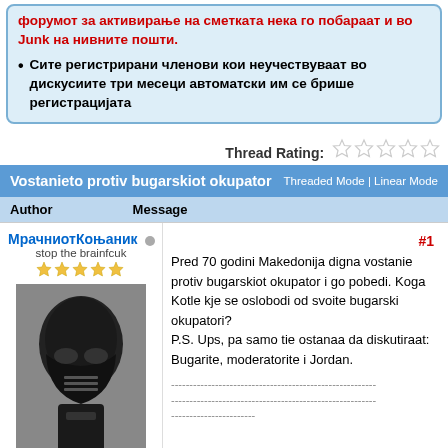форумот за активирање на сметката нека го побараат и во Junk на нивните пошти.
Сите регистрирани членови кои неучествуваат во дискусиите три месеци автоматски им се брише регистрацијата
Thread Rating:
Vostanieto protiv bugarskiot okupator  Threaded Mode | Linear Mode
Author  Message
МрачниотКоњаник  #1
stop the brainfcuk
[Figure (photo): Avatar image of Darth Vader helmet in black and white]
Pred 70 godini Makedonija digna vostanie protiv bugarskiot okupator i go pobedi. Koga Kotle kje se oslobodi od svoite bugarski okupatori?
P.S. Ups, pa samo tie ostanaa da diskutiraat: Bugarite, moderatorite i Jordan.